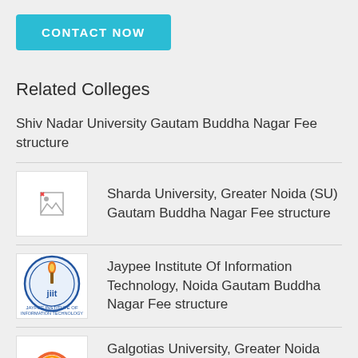CONTACT NOW
Related Colleges
Shiv Nadar University Gautam Buddha Nagar Fee structure
[Figure (logo): Sharda University logo placeholder (broken image icon)]
Sharda University, Greater Noida (SU) Gautam Buddha Nagar Fee structure
[Figure (logo): JIIT (Jaypee Institute of Information Technology) logo — circular badge with torch emblem and jiit text]
Jaypee Institute Of Information Technology, Noida Gautam Buddha Nagar Fee structure
[Figure (logo): Galgotias University logo — red and orange swirl G with rainbow arc]
Galgotias University, Greater Noida (GU) Gautam Buddha Nagar Fee structure